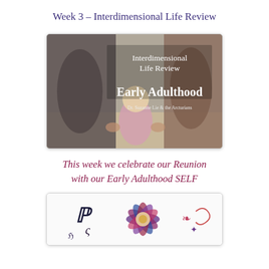Week 3 – Interdimensional Life Review
[Figure (photo): Slide image showing two adults holding hands with a small child between them, walking. Text overlay reads 'Interdimensional Life Review / Early Adulthood / Dr. Suzanne Lie & the Arcturians']
This week we celebrate our Reunion with our Early Adulthood SELF
[Figure (illustration): Decorative illustration with stylized symbols and a colorful mandala/lotus-like design in blues, purples, pinks and reds]